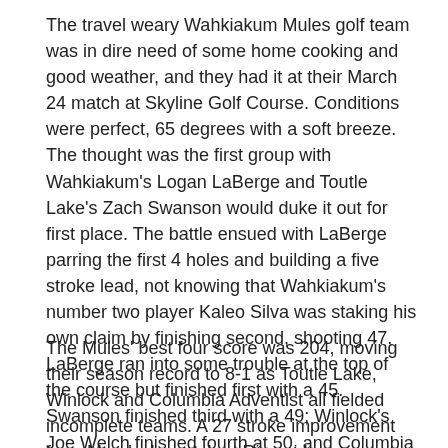The travel weary Wahkiakum Mules golf team was in dire need of some home cooking and good weather, and they had it at their March 24 match at Skyline Golf Course. Conditions were perfect, 65 degrees with a soft breeze. The thought was the first group with Wahkiakum's Logan LaBerge and Toutle Lake's Zach Swanson would duke it out for first place. The battle ensued with LaBerge parring the first 4 holes and building a five stroke lead, not knowing that Wahkiakum's number two player Kaleo Silva was staking his own claim by finishing second, shooting 47. LaBerge ran into some trouble at the top of the course but finished first with a 45. Swanson finished third with a 49; Winlock's Joe Welch finished fourth at 50, and Columbia Adventist's Braiden Ermshar finished sixth with a 52.
The Mules' best four score was 204, moving their season record to 8-1 as Toutle Lake, Winlock and Columbia Adventist all fielded incomplete teams. A 27 stroke improvement from Monday's match at Riverside was remarkable. The bulk of that improvement was